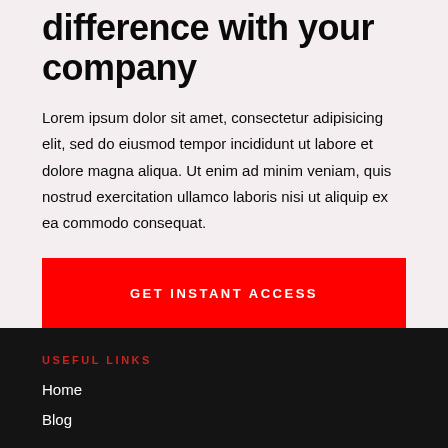difference with your company
Lorem ipsum dolor sit amet, consectetur adipisicing elit, sed do eiusmod tempor incididunt ut labore et dolore magna aliqua. Ut enim ad minim veniam, quis nostrud exercitation ullamco laboris nisi ut aliquip ex ea commodo consequat.
GET INSTANT ACCESS
USEFUL LINKS
Home
Blog